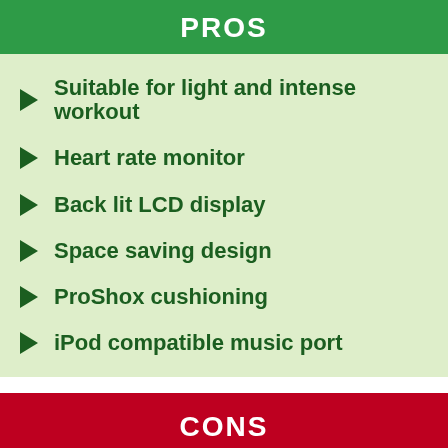PROS
Suitable for light and intense workout
Heart rate monitor
Back lit LCD display
Space saving design
ProShox cushioning
iPod compatible music port
CONS